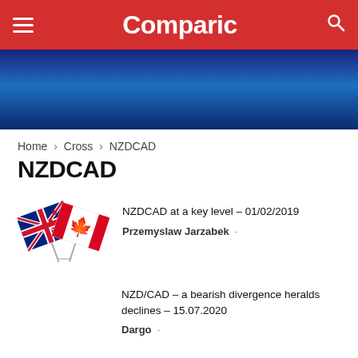Comparic
[Figure (photo): Blue banner/advertisement area with dark blue gradient background]
Home › Cross › NZDCAD
NZDCAD
[Figure (illustration): Two crossed flags: New Zealand flag and Canadian flag]
NZDCAD at a key level – 01/02/2019
Przemyslaw Jarzabek -
NZD/CAD – a bearish divergence heralds declines – 15.07.2020
Dargo -